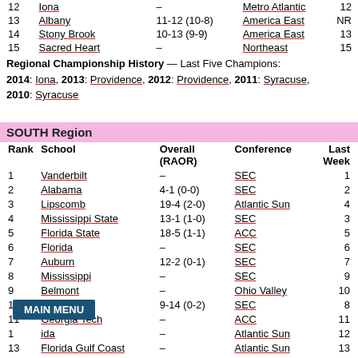| Rank | School | Overall (RAOR) | Conference | Last Week |
| --- | --- | --- | --- | --- |
| 12 | Iona | – | Metro Atlantic | 12 |
| 13 | Albany | 11-12 (10-8) | America East | NR |
| 14 | Stony Brook | 10-13 (9-9) | America East | 13 |
| 15 | Sacred Heart | – | Northeast | 15 |
Regional Championship History — Last Five Champions: 2014: Iona, 2013: Providence, 2012: Providence, 2011: Syracuse, 2010: Syracuse
SOUTH Region
| Rank | School | Overall (RAOR) | Conference | Last Week |
| --- | --- | --- | --- | --- |
| 1 | Vanderbilt | – | SEC | 1 |
| 2 | Alabama | 4-1 (0-0) | SEC | 2 |
| 3 | Lipscomb | 19-4 (2-0) | Atlantic Sun | 4 |
| 4 | Mississippi State | 13-1 (1-0) | SEC | 3 |
| 5 | Florida State | 18-5 (1-1) | ACC | 5 |
| 6 | Florida | – | SEC | 6 |
| 7 | Auburn | 12-2 (0-1) | SEC | 7 |
| 8 | Mississippi | – | SEC | 9 |
| 9 | Belmont | – | Ohio Valley | 10 |
| 10 | Georgia | 9-14 (0-2) | SEC | 8 |
| 11 | Georgia Tech | – | ACC | 11 |
| 12 | ...ida | – | Atlantic Sun | 12 |
| 13 | Florida Gulf Coast | – | Atlantic Sun | 13 |